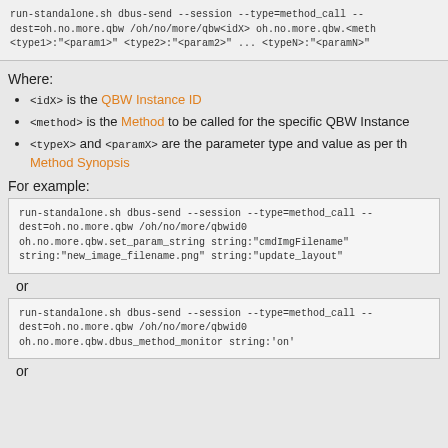run-standalone.sh dbus-send --session --type=method_call --dest=oh.no.more.qbw /oh/no/more/qbw<idX> oh.no.more.qbw.<method> <type1>:"<param1>" <type2>:"<param2>" ... <typeN>:"<paramN>"
Where:
<idX> is the QBW Instance ID
<method> is the Method to be called for the specific QBW Instance
<typeX> and <paramX> are the parameter type and value as per the Method Synopsis
For example:
run-standalone.sh dbus-send --session --type=method_call --dest=oh.no.more.qbw /oh/no/more/qbwid0 oh.no.more.qbw.set_param_string string:"cmdImgFilename" string:"new_image_filename.png" string:"update_layout"
or
run-standalone.sh dbus-send --session --type=method_call --dest=oh.no.more.qbw /oh/no/more/qbwid0 oh.no.more.qbw.dbus_method_monitor string:'on'
or